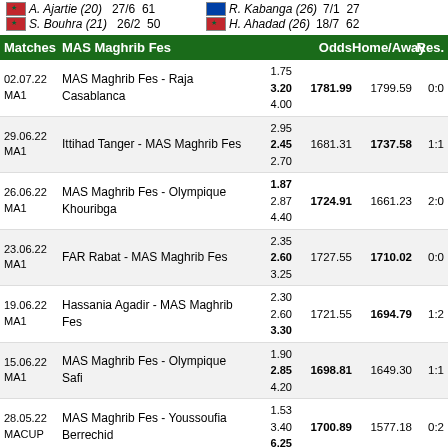A. Ajartie (20) 27/6 61 | R. Kabanga (26) 7/1 27
S. Bouhra (21) 26/2 50 | H. Ahadad (26) 18/7 62
| Matches | MAS Maghrib Fes | Odds | Home/Away | Res. |
| --- | --- | --- | --- | --- |
| 02.07.22 MA1 | MAS Maghrib Fes - Raja Casablanca | 1.75 3.20 4.00 | 1781.99 1799.59 | 0:0 |
| 29.06.22 MA1 | Ittihad Tanger - MAS Maghrib Fes | 2.95 2.45 2.70 | 1681.31 1737.58 | 1:1 |
| 26.06.22 MA1 | MAS Maghrib Fes - Olympique Khouribga | 1.87 2.87 4.40 | 1724.91 1661.23 | 2:0 |
| 23.06.22 MA1 | FAR Rabat - MAS Maghrib Fes | 2.35 2.60 3.25 | 1727.55 1710.02 | 0:0 |
| 19.06.22 MA1 | Hassania Agadir - MAS Maghrib Fes | 2.30 2.60 3.30 | 1721.55 1694.79 | 1:2 |
| 15.06.22 MA1 | MAS Maghrib Fes - Olympique Safi | 1.90 2.85 4.20 | 1698.81 1649.30 | 1:1 |
| 28.05.22 MACUP | MAS Maghrib Fes - Youssoufia Berrechid | 1.53 3.40 6.25 | 1700.89 1577.18 | 0:2 |
| 18.05.22 MA1 | MAS Maghrib Fes - Wydad Casablanca | 3.30 2.85 2.15 | 1681.57 1857.78 | 1:1 |